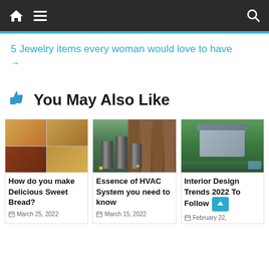Navigation bar with home, menu, and search icons
5 Jewelry items every woman would love to have →
👍 You May Also Like
[Figure (photo): Food collage mosaic showing various baked goods and sweet breads]
How do you make Delicious Sweet Bread?
March 25, 2022
[Figure (photo): HVAC outdoor units/cylinders in a garden setting]
Essence of HVAC System you need to know
March 15, 2022
[Figure (photo): Aerial view of modern house for interior design trends 2022]
Interior Design Trends 2022 To Follow
February 22,